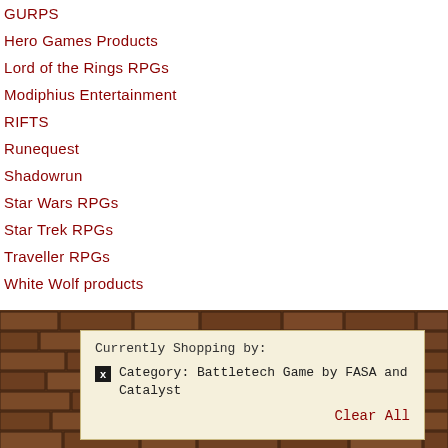GURPS
Hero Games Products
Lord of the Rings RPGs
Modiphius Entertainment
RIFTS
Runequest
Shadowrun
Star Wars RPGs
Star Trek RPGs
Traveller RPGs
White Wolf products
[Figure (illustration): Stone/brick wall texture background]
Currently Shopping by:
x  Category: Battletech Game by FASA and Catalyst
Clear All